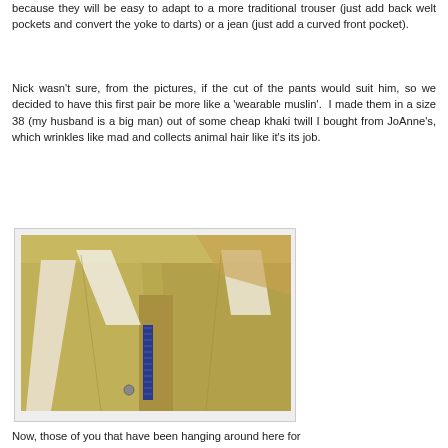because they will be easy to adapt to a more traditional trouser (just add back welt pockets and convert the yoke to darts) or a jean (just add a curved front pocket).
Nick wasn't sure, from the pictures, if the cut of the pants would suit him, so we decided to have this first pair be more like a 'wearable muslin'. I made them in a size 38 (my husband is a big man) out of some cheap khaki twill I bought from JoAnne's, which wrinkles like mad and collects animal hair like it's its job.
[Figure (photo): Photo of khaki pants laid flat showing the waistband area, yoke, and fly with a blue zipper. The pants are made from khaki/tan twill fabric.]
Now, those of you that have been hanging around here for